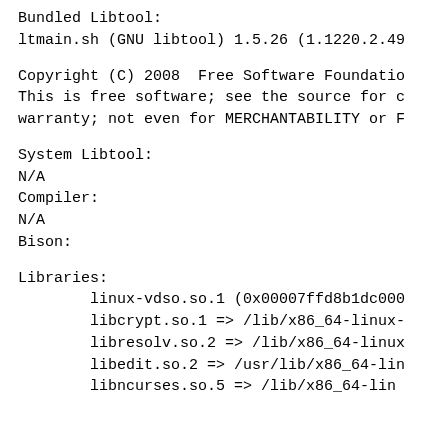Bundled Libtool:
ltmain.sh (GNU libtool) 1.5.26 (1.1220.2.49
Copyright (C) 2008  Free Software Foundatio
This is free software; see the source for c
warranty; not even for MERCHANTABILITY or F
System Libtool:
N/A
Compiler:
N/A
Bison:
Libraries:
linux-vdso.so.1 (0x00007ffd8b1dc000
        libcrypt.so.1 => /lib/x86_64-linux-
        libresolv.so.2 => /lib/x86_64-linux
        libedit.so.2 => /usr/lib/x86_64-lin
        libncurses.so.5 => /lib/x86_64-lin